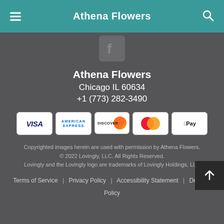Athena Flowers
[Figure (logo): Facebook icon in a rounded square]
Athena Flowers
Chicago IL 60634
+1 (773) 282-3490
[Figure (other): Payment method icons: VISA, American Express, Discover, Mastercard, Apple Pay]
Copyrighted images herein are used with permission by Athena Flowers.
© 2022 Lovingly, LLC. All Rights Reserved.
Lovingly and the Lovingly logo are trademarks of Lovingly Holdings, LLC
Terms of Service | Privacy Policy | Accessibility Statement | Delivery Policy